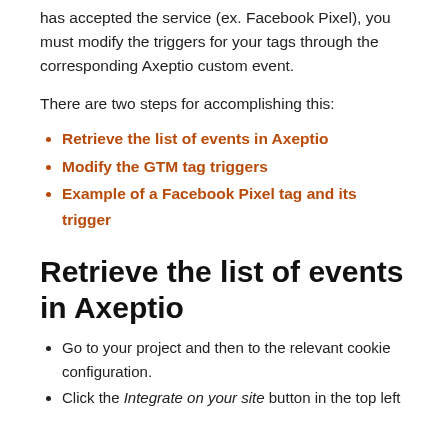has accepted the service (ex. Facebook Pixel), you must modify the triggers for your tags through the corresponding Axeptio custom event.
There are two steps for accomplishing this:
Retrieve the list of events in Axeptio
Modify the GTM tag triggers
Example of a Facebook Pixel tag and its trigger
Retrieve the list of events in Axeptio
Go to your project and then to the relevant cookie configuration.
Click the Integrate on your site button in the top left